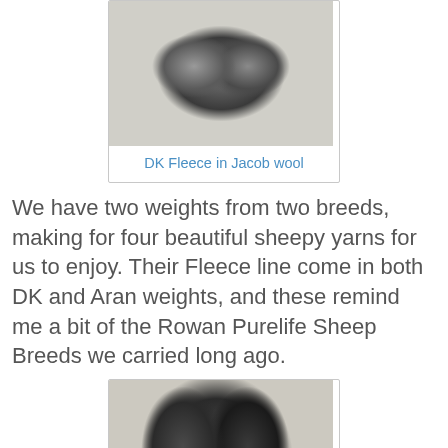[Figure (photo): Skeins of grey Jacob wool DK fleece yarn arranged on a white background]
DK Fleece in Jacob wool
We have two weights from two breeds, making for four beautiful sheepy yarns for us to enjoy. Their Fleece line come in both DK and Aran weights, and these remind me a bit of the Rowan Purelife Sheep Breeds we carried long ago.
[Figure (photo): Two skeins of dark brown/charcoal WYS Fleece 100% Jacobs yarn with branded labels showing the WYS fleece branding]